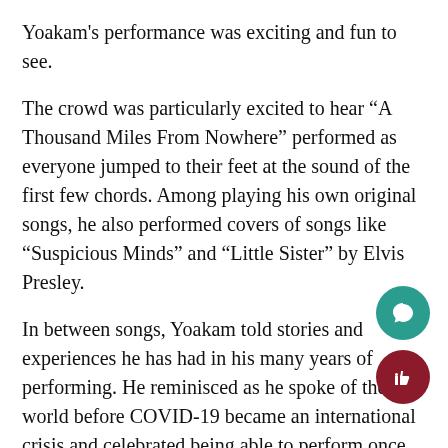Yoakam's performance was exciting and fun to see.
The crowd was particularly excited to hear “A Thousand Miles From Nowhere” performed as everyone jumped to their feet at the sound of the first few chords. Among playing his own original songs, he also performed covers of songs like “Suspicious Minds” and “Little Sister” by Elvis Presley.
In between songs, Yoakam told stories and experiences he has had in his many years of performing. He reminisced as he spoke of the world before COVID-19 became an international crisis and celebrated being able to perform once again. He shared his experiences in the past at other shows and how happy he is to be back on the road.
Yoakam has a very unique style, not only in his music but in his attire as well. Sporting a cowboy hat, boots, and